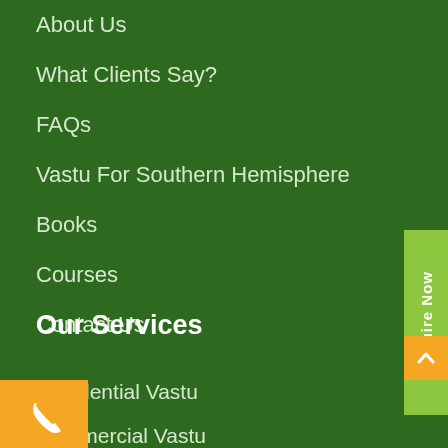About Us
What Clients Say?
FAQs
Vastu For Southern Hemisphere
Books
Courses
Contact Us
Our Services
Residential Vastu
Commercial Vastu
Industrial Vastu
Vastu For Plot & Lot
Construction of Building
u For Drawing & Layout